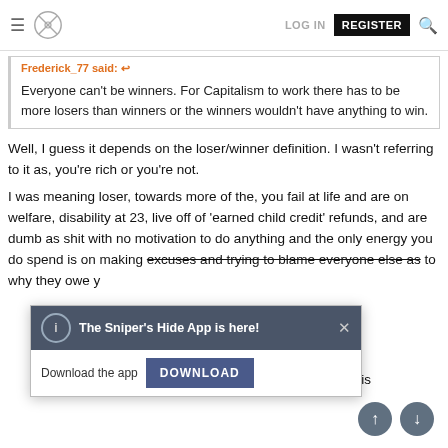LOG IN  REGISTER
Frederick_77 said:
Everyone can't be winners. For Capitalism to work there has to be more losers than winners or the winners wouldn't have anything to win.
Well, I guess it depends on the loser/winner definition. I wasn't referring to it as, you're rich or you're not.
I was meaning loser, towards more of the, you fail at life and are on welfare, disability at 23, live off of 'earned child credit' refunds, and are dumb as shit with no motivation to do anything and the only energy you do spend is on making excuses and trying to blame everyone else as to why they owe y
[Figure (screenshot): Popup dialog: 'The Sniper's Hide App is here!' with Download button and close X]
italis